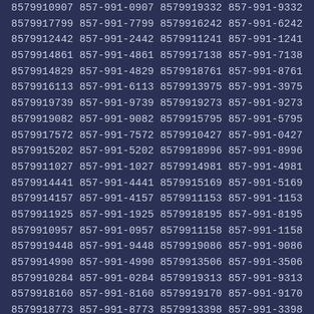8579910907 857-991-0907 8579919332 857-991-9332
8579917799 857-991-7799 8579916242 857-991-6242
8579912442 857-991-2442 8579911241 857-991-1241
8579914861 857-991-4861 8579917138 857-991-7138
8579914829 857-991-4829 8579918761 857-991-8761
8579916113 857-991-6113 8579913975 857-991-3975
8579919739 857-991-9739 8579919273 857-991-9273
8579919082 857-991-9082 8579915795 857-991-5795
8579917572 857-991-7572 8579910427 857-991-0427
8579915202 857-991-5202 8579918996 857-991-8996
8579911027 857-991-1027 8579914981 857-991-4981
8579914441 857-991-4441 8579915169 857-991-5169
8579914157 857-991-4157 8579911153 857-991-1153
8579911925 857-991-1925 8579918195 857-991-8195
8579910957 857-991-0957 8579911158 857-991-1158
8579919448 857-991-9448 8579919086 857-991-9086
8579914990 857-991-4990 8579913506 857-991-3506
8579910284 857-991-0284 8579919313 857-991-9313
8579918160 857-991-8160 8579919170 857-991-9170
8579918773 857-991-8773 8579913398 857-991-3398
8579914246 857-991-4246 8579917989 857-991-7989
8579916279 857-991-6279 8579910563 857-991-0563
8579919240 857-991-9240 8579913946 857-991-3946
8579910744 857-991-0744 8579918703 857-991-8703
8579915203 857-991-5203 8579913533 857-991-3533
8579914569 857-991-4569 8579910938 857-991-0938
8579917147 857-991-7147 8579915752 857-991-5752
8579916920 857-991-6920 8579912319 857-991-2319
8579918397 857-991-8397 8579911801 857-991-1801